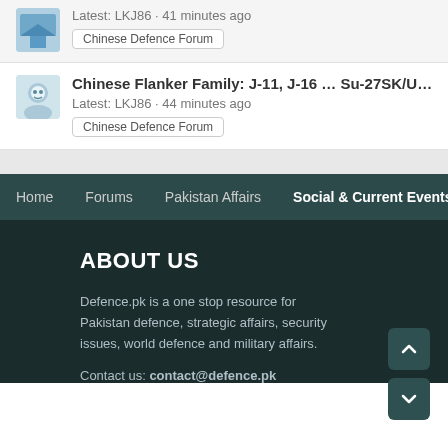Latest: LKJ86 · 41 minutes ago
Chinese Defence Forum
Chinese Flanker Family: J-11, J-16 ... Su-27SK/UBK, Su-30MKK
Latest: LKJ86 · 44 minutes ago
Chinese Defence Forum
Home · Forums · Pakistan Affairs · Social & Current Events
ABOUT US
Defence.pk is a one stop resource for Pakistan defence, strategic affairs, security issues, world defence and military affairs.
Contact us: contact@defence.pk